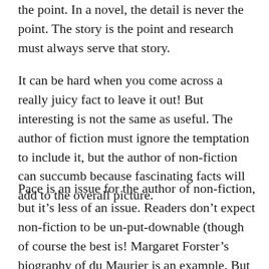the point. In a novel, the detail is never the point. The story is the point and research must always serve that story.
It can be hard when you come across a really juicy fact to leave it out! But interesting is not the same as useful. The author of fiction must ignore the temptation to include it, but the author of non-fiction can succumb because fascinating facts will add to the overall picture.
Pace is an issue for the author of non-fiction, but it's less of an issue. Readers don't expect non-fiction to be un-put-downable (though of course the best is! Margaret Forster's biography of du Maurier is an example. But there you have a marriage made in Heaven: a